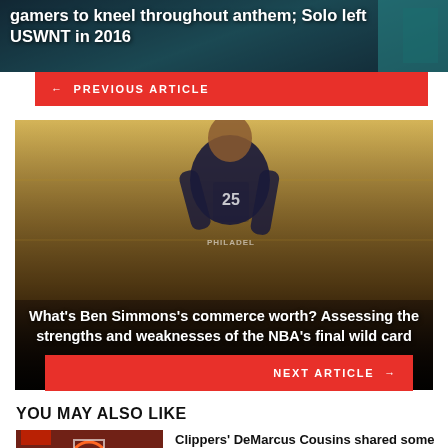gamers to kneel throughout anthem; Solo left USWNT in 2016
← PREVIOUS ARTICLE
[Figure (photo): Basketball player Ben Simmons wearing Philadelphia 76ers jersey number 25]
What's Ben Simmons's commerce worth? Assessing the strengths and weaknesses of the NBA's final wild card
NEXT ARTICLE →
YOU MAY ALSO LIKE
[Figure (photo): Basketball game action photo]
Clippers' DeMarcus Cousins shared some harsh phrases with Suns'